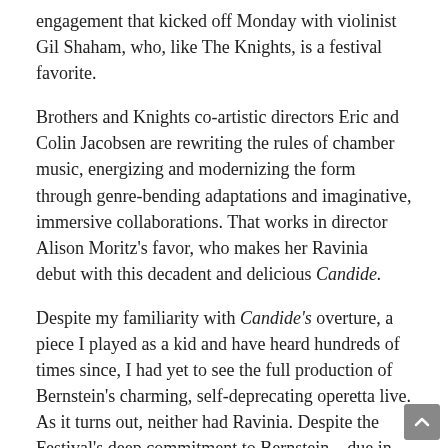engagement that kicked off Monday with violinist Gil Shaham, who, like The Knights, is a festival favorite.
Brothers and Knights co-artistic directors Eric and Colin Jacobsen are rewriting the rules of chamber music, energizing and modernizing the form through genre-bending adaptations and imaginative, immersive collaborations. That works in director Alison Moritz's favor, who makes her Ravinia debut with this decadent and delicious Candide.
Despite my familiarity with Candide's overture, a piece I played as a kid and have heard hundreds of times since, I had yet to see the full production of Bernstein's charming, self-deprecating operetta live. As it turns out, neither had Ravinia. Despite the Festival's deep commitment to Bernstein—due in large part to President and CEO Welz Kauffman's admiration for and expertise with the composer's catalog—a full-length production of Candide had not graced this gorgeous venue's stage until now.
The Knights' musicians aren't just accompanists, here, they're part of the action, placed on stage and hugged by a semi-